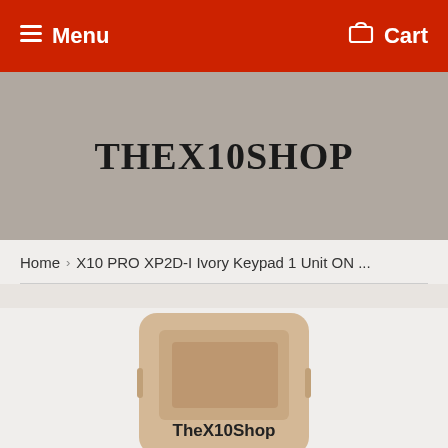Menu  Cart
THEX10SHOP
Home  ›  X10 PRO XP2D-I Ivory Keypad 1 Unit ON ...
[Figure (photo): Ivory/beige colored X10 PRO XP2D-I keypad device with TheX10Shop branding shown against white background]